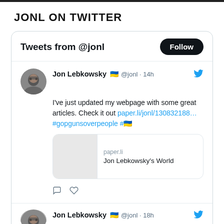JONL ON TWITTER
Tweets from @jonl
Jon Lebkowsky 🇺🇦 @jonl · 14h — I've just updated my webpage with some great articles. Check it out paper.li/jonl/130832188… #gopgunsoverpeople #🇺🇦
[Figure (screenshot): Twitter card preview showing paper.li domain and title 'Jon Lebkowsky's World']
Jon Lebkowsky 🇺🇦 @jonl · 18h